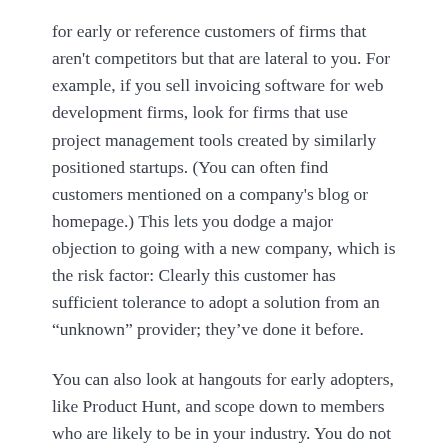for early or reference customers of firms that aren't competitors but that are lateral to you. For example, if you sell invoicing software for web development firms, look for firms that use project management tools created by similarly positioned startups. (You can often find customers mentioned on a company's blog or homepage.) This lets you dodge a major objection to going with a new company, which is the risk factor: Clearly this customer has sufficient tolerance to adopt a solution from an “unknown” provider; they’ve done it before.
You can also look at hangouts for early adopters, like Product Hunt, and scope down to members who are likely to be in your industry. You do not need many names to count to 10.
On the internet: It is often easiest for internet entrepreneurs to sell to people who are aligned with